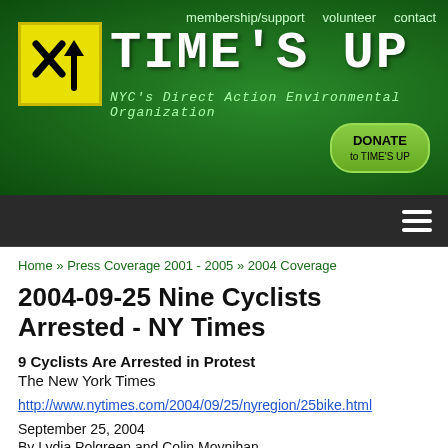[Figure (logo): Time's Up NYC Direct Action Environmental Organization logo with yellow X and upward arrow on green background]
TIME'S UP | NYC's Direct Action Environmental Organization | membership/support | volunteer | contact | DONATE to TIME'S UP
Home » Press Coverage 2001 - 2005 » 2004 Coverage
2004-09-25 Nine Cyclists Arrested - NY Times
9 Cyclists Are Arrested in Protest
The New York Times
http://www.nytimes.com/2004/09/25/nyregion/25bike.html
September 25, 2004
By Lydia Polgreen and Colin Moynihan
Nine people were arrested last night and 40 bicycles were seized as about a thousand cyclists hit the streets in the monthly Critical Mass bicycle protest ride, the police said. The cyclists filled the